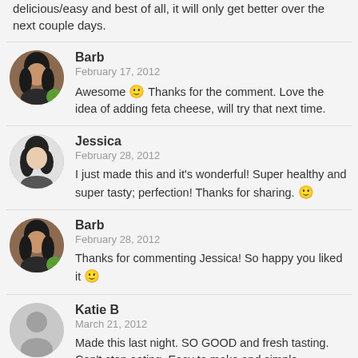delicious/easy and best of all, it will only get better over the next couple days.
Barb
February 17, 2012
Awesome 🙂 Thanks for the comment. Love the idea of adding feta cheese, will try that next time.
Jessica
February 28, 2012
I just made this and it's wonderful! Super healthy and super tasty; perfection! Thanks for sharing. 🙂
Barb
February 28, 2012
Thanks for commenting Jessica! So happy you liked it 🙂
Katie B
March 21, 2012
Made this last night. SO GOOD and fresh tasting. Can't stop eating. Easy to make and simple ingredients...